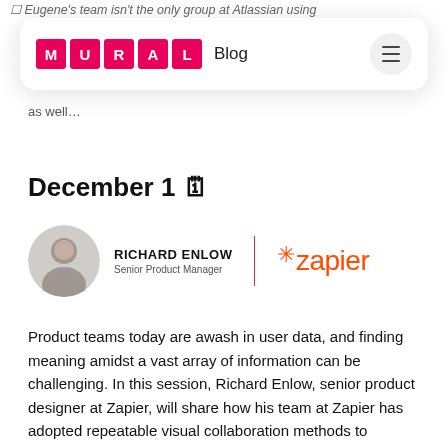☐ Eugene's team isn't the only group at Atlassian using
[Figure (logo): MURAL Blog navigation bar with pink MURAL logo tiles, Blog text, and hamburger menu button]
as well…
December 1 🗓
[Figure (infographic): Speaker card showing Richard Enlow, Senior Product Manager, with Zapier orange logo]
Product teams today are awash in user data, and finding meaning amidst a vast array of information can be challenging. In this session, Richard Enlow, senior product designer at Zapier, will share how his team at Zapier has adopted repeatable visual collaboration methods to